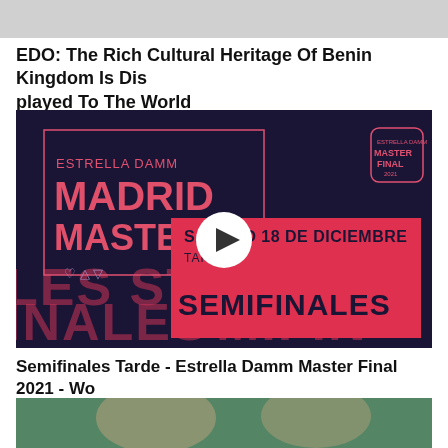[Figure (photo): Partially visible image at top of page (gray placeholder)]
EDO: The Rich Cultural Heritage Of Benin Kingdom Is Displayed To The World
[Figure (screenshot): Estrella Damm Madrid Master Final 2021 promotional video thumbnail with play button. Dark navy background with pink/red text reading ESTRELLA DAMM MADRID MASTER FINAL. Red banner overlay showing SABADO 18 DE DICIEMBRE TARDE SEMIFINALES. White circular play button in center.]
Semifinales Tarde - Estrella Damm Master Final 2021 - World Padel Tour
[Figure (photo): Partial photo of two people, blurred green background, visible at bottom of page]